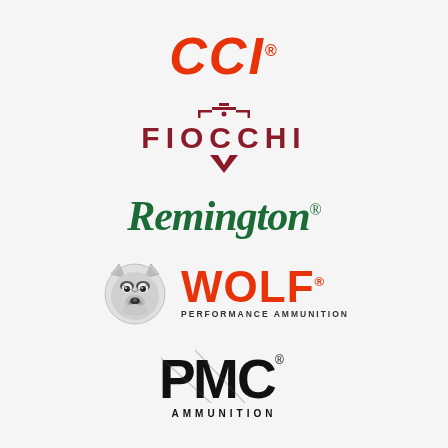[Figure (logo): CCI logo in bold italic red letters with registered trademark symbol]
[Figure (logo): Fiocchi logo with crosshair/target symbol above and below the text in dark red]
[Figure (logo): Remington logo in green italic serif font with registered trademark symbol]
[Figure (logo): Wolf Performance Ammunition logo with wolf head illustration and red bold text]
[Figure (logo): PMC Ammunition logo in bold black letters with registered trademark and AMMUNITION text below]